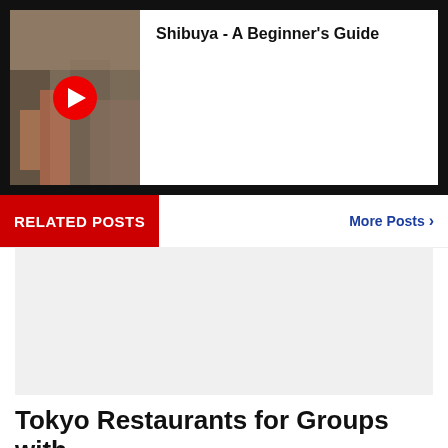[Figure (screenshot): Video thumbnail showing Shibuya street scene with a red play button overlay]
Shibuya - A Beginner's Guide
RELATED POSTS
More Posts >
[Figure (photo): Light gray placeholder image for a related post]
Tokyo Restaurants for Groups with